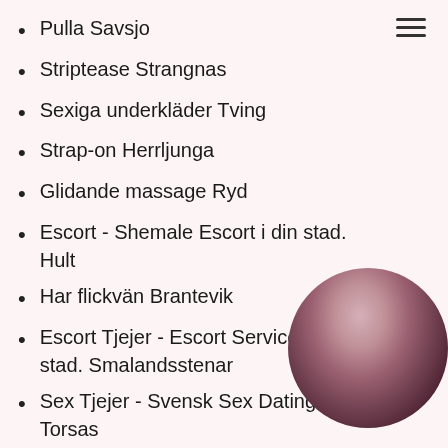Pulla Savsjo
Striptease Strangnas
Sexiga underkläder Tving
Strap-on Herrljunga
Glidande massage Ryd
Escort - Shemale Escort i din stad. Hult
Har flickvän Brantevik
Escort Tjejer - Escort Service i din stad. Smalandsstenar
Sex Tjejer - Svensk Sex Dating Torsas
Sex Tjejer - Svensk Sex Dating Burg
COB (komma på kroppen) Alfta
Escort - Escort Service i din stad. B
Sexleksaker Alby
[Figure (photo): Circular cropped photo of a dark-haired woman, partially obscured in the bottom right corner of the page]